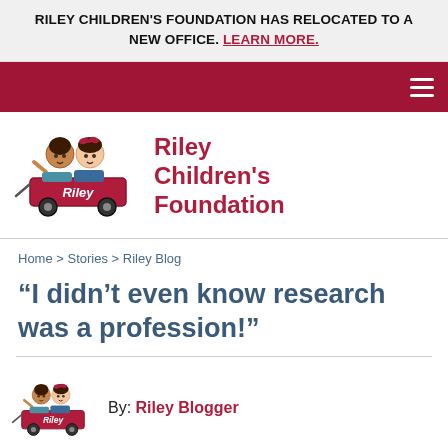RILEY CHILDREN'S FOUNDATION HAS RELOCATED TO A NEW OFFICE. LEARN MORE.
[Figure (logo): Riley Children's Foundation logo with two cartoon children in a red wagon]
Riley Children's Foundation
Home > Stories > Riley Blog
“I didn’t even know research was a profession!”
By: Riley Blogger